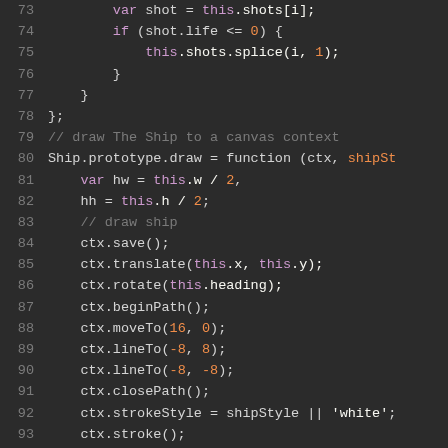[Figure (screenshot): Syntax-highlighted JavaScript code editor screenshot showing lines 73–92 of a ship game implementation. Background is dark gray (#2b2b2b). Line numbers in gray on the left. Code includes var shot assignment, if condition checking shot.life, splice call, closing braces, a comment about drawing a ship to canvas, Ship.prototype.draw function definition, variable declarations hw and hh, ctx method calls (save, translate, rotate, beginPath, moveTo, lineTo, closePath, strokeStyle assignment).]